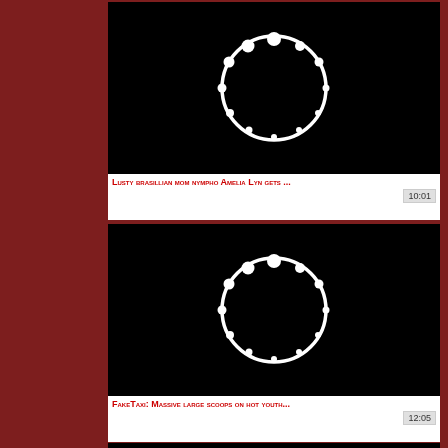[Figure (screenshot): Black video thumbnail with white circle loading spinner icon in center]
Lusty brasillian mom nympho Amelia Lyn gets ...
10:01
[Figure (screenshot): Black video thumbnail with white circle loading spinner icon in center]
FakeTaxi: Massive large scoops on hot youth...
12:05